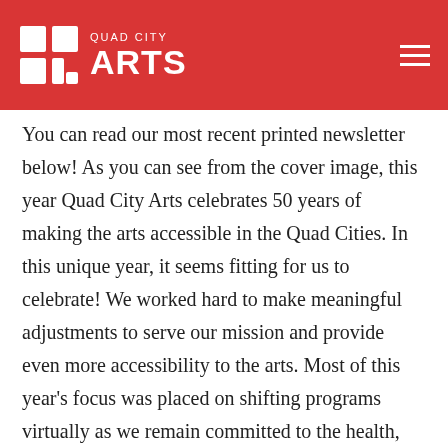QUAD CITY ARTS
You can read our most recent printed newsletter below! As you can see from the cover image, this year Quad City Arts celebrates 50 years of making the arts accessible in the Quad Cities. In this unique year, it seems fitting for us to celebrate! We worked hard to make meaningful adjustments to serve our mission and provide even more accessibility to the arts. Most of this year’s focus was placed on shifting programs virtually as we remain committed to the health, safety, and vitality of our region. This year, we have a way to share all our news digitally through our blog, support artists by selling artwork online, and provide quality performance arts materials through a free platform for educators.